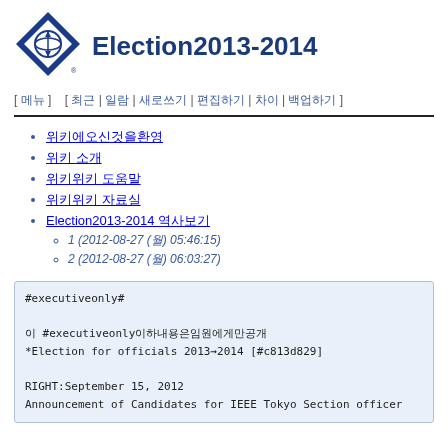[Figure (logo): IEEE logo with diamond shape and 'IEEE' text in blue]
Election2013-2014
[ 메뉴 ]   [ 최근 | 일람 | 새로쓰기 | 편집하기 | 차이 | 백업하기 ]
위키에오신것을환영
위키 소개
위키위키 도움말
위키위키 자료실
Election2013-2014 역사보기
1 (2012-08-27 (월) 05:46:15)
2 (2012-08-27 (월) 06:03:27)
#executiveonly#

이 #executiveonly이하내용은임원에게만공개
*Election for officials 2013→2014 [#c813d829]

RIGHT:September 15, 2012
Announcement of Candidates for IEEE Tokyo Section officer